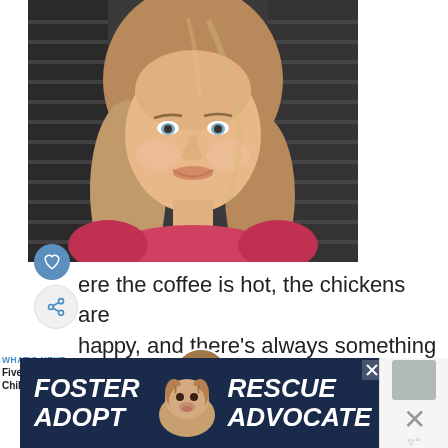[Figure (photo): Portrait photo of a smiling woman with long brown/blonde hair and blue eyes, wearing a floral top, outdoors with a dark background (shutters/siding visible)]
where the coffee is hot, the chickens are happy, and there's always something in the kitchen.
WHAT'S NEXT → Five Bean Chili
[Figure (photo): Small circular thumbnail photo showing a bowl of chili]
[Figure (photo): Advertisement banner with dark navy background showing text FOSTER ADOPT on the left, a beagle dog in the center, and RESCUE ADVOCATE on the right with a close button]